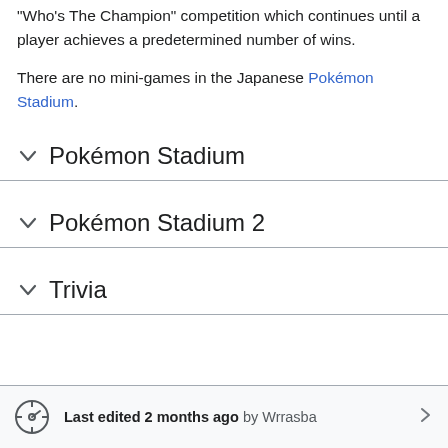"Who's The Champion" competition which continues until a player achieves a predetermined number of wins.
There are no mini-games in the Japanese Pokémon Stadium.
Pokémon Stadium
Pokémon Stadium 2
Trivia
Last edited 2 months ago by Wrrasba